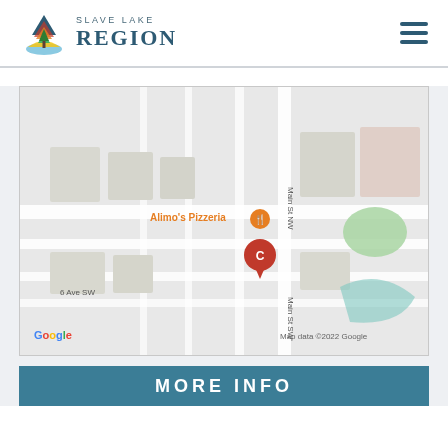SLAVE LAKE REGION
[Figure (map): Google Map showing location marker 'C' near Alimo's Pizzeria on Main St NW/SW, Slave Lake. Streets visible include Main St NW, Main St SW, and 6 Ave SW. Map data ©2022 Google.]
MORE INFO